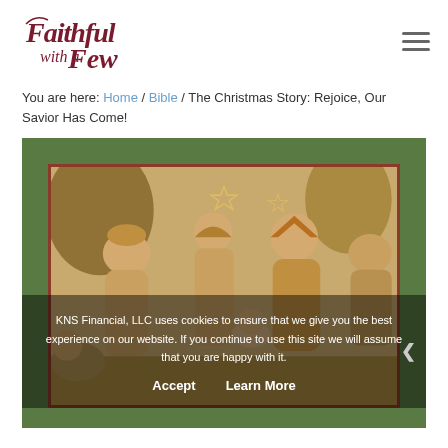[Figure (logo): Faithful with a Few logo in dark red cursive script]
You are here: Home / Bible / The Christmas Story: Rejoice, Our Savior Has Come!
[Figure (photo): Nativity scene carved figurines (wood-colored) showing Mary, Joseph, wise men, and baby Jesus, set against a dark olive green background]
KNS Financial, LLC uses cookies to ensure that we give you the best experience on our website. If you continue to use this site we will assume that you are happy with it.
Accept   Learn More